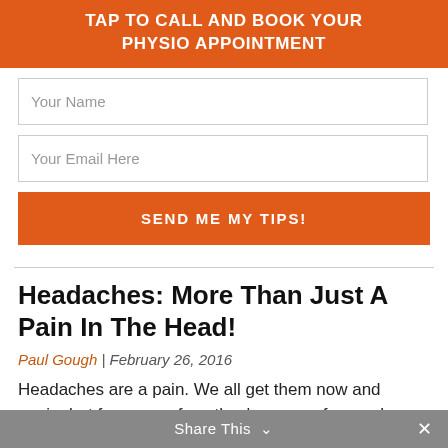TAP TO CALL AND BOOK YOUR PHYSIO APPOINTMENT
Your Name
Your Email Here
SEND ME MY TIPS!
Headaches: More Than Just A Pain In The Head!
Paul Gough | February 26, 2016
Headaches are a pain. We all get them now and again, but for some of us, they're more of a regular occurrence than others...
Share This ∨  ✕